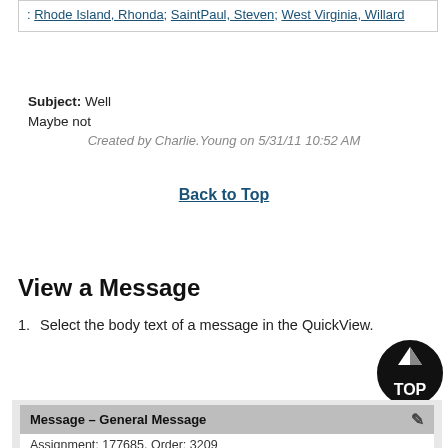: Rhode Island, Rhonda; SaintPaul, Steven; West Virginia, Willard
Subject: Well
Maybe not
Created by Charlie.Young on 5/31/11 10:52 AM
Back to Top
View a Message
1. Select the body text of a message in the QuickView.
[Figure (screenshot): Screenshot showing Message – General Message panel with Assignment: 177685, Order: 3209]
Message – General Message
Assignment: 177685, Order: 3209